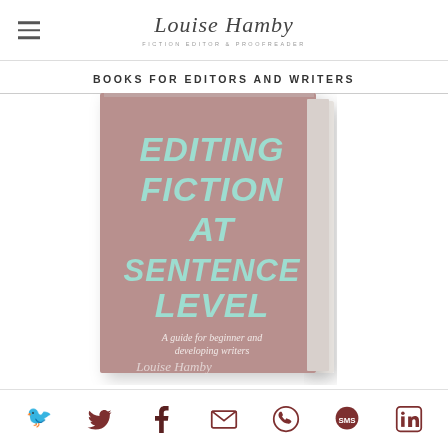Louise Hamby — Fiction Editor & Proofreader
BOOKS FOR EDITORS AND WRITERS
[Figure (photo): Book cover of 'Editing Fiction at Sentence Level: A guide for beginner and developing writers' by Louise Hamby. The cover is dusky pink/mauve with teal/mint bold title text and a white spine. The subtitle reads 'A guide for beginner and developing writers' in italic script.]
Social share icons: Twitter, Facebook, Email, WhatsApp, SMS, LinkedIn